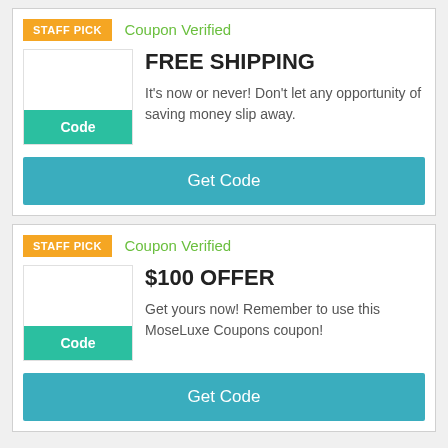STAFF PICK
Coupon Verified
FREE SHIPPING
It's now or never! Don't let any opportunity of saving money slip away.
Code
Get Code
STAFF PICK
Coupon Verified
$100 OFFER
Get yours now! Remember to use this MoseLuxe Coupons coupon!
Code